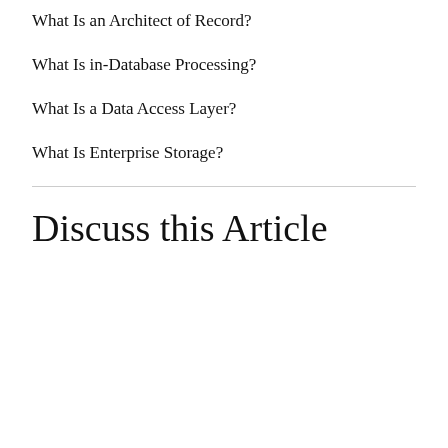What Is an Architect of Record?
What Is in-Database Processing?
What Is a Data Access Layer?
What Is Enterprise Storage?
Discuss this Article